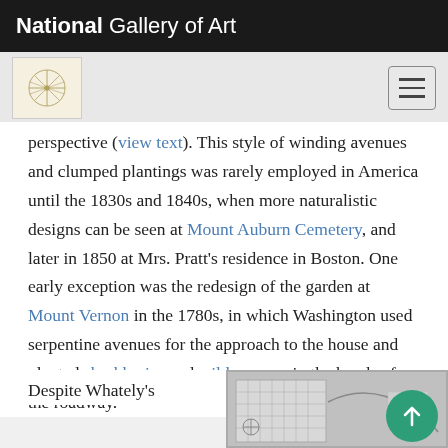National Gallery of Art
perspective (view text). This style of winding avenues and clumped plantings was rarely employed in America until the 1830s and 1840s, when more naturalistic designs can be seen at Mount Auburn Cemetery, and later in 1850 at Mrs. Pratt's residence in Boston. One early exception was the redesign of the garden at Mount Vernon in the 1780s, in which Washington used serpentine avenues for the approach to the house and planted shrubberies and wildernesses in the bends of the roadway.[1]
Despite Whately's